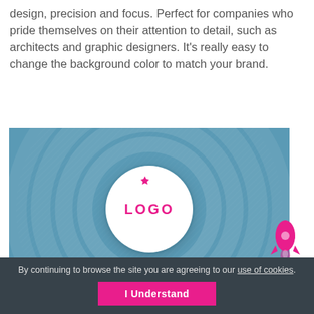design, precision and focus. Perfect for companies who pride themselves on their attention to detail, such as architects and graphic designers. It's really easy to change the background color to match your brand.
[Figure (illustration): A teal/blue circular logo reveal template graphic with concentric rings and a white circle in the center containing the word 'LOGO' in pink text, with a small pink star accent above the circle.]
You can purchase this logo reveal template individually here.
By continuing to browse the site you are agreeing to our use of cookies. I Understand